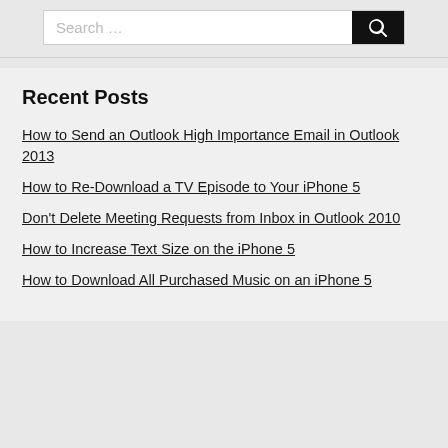[Figure (screenshot): Search bar with text input field showing 'Search ...' placeholder and a black Search button with magnifying glass icon]
Recent Posts
How to Send an Outlook High Importance Email in Outlook 2013
How to Re-Download a TV Episode to Your iPhone 5
Don't Delete Meeting Requests from Inbox in Outlook 2010
How to Increase Text Size on the iPhone 5
How to Download All Purchased Music on an iPhone 5